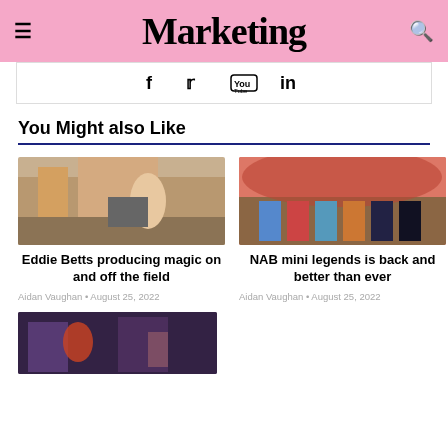Marketing
[Figure (other): Social media icons: Facebook, Twitter, YouTube, LinkedIn]
You Might also Like
[Figure (photo): Man in kitchen making coffee - Eddie Betts article thumbnail]
Eddie Betts producing magic on and off the field
Aidan Vaughan • August 25, 2022
[Figure (photo): Children in AFL uniforms with dramatic sky - NAB mini legends article thumbnail]
NAB mini legends is back and better than ever
Aidan Vaughan • August 25, 2022
[Figure (photo): Third article thumbnail - partially visible at bottom of page]